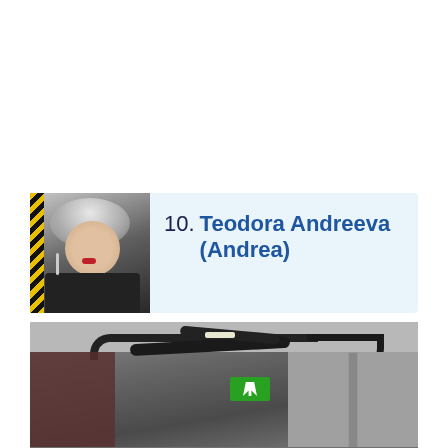10. Teodora Andreeva (Andrea)
[Figure (photo): Portrait photo of a blonde woman with silver hair and dangling earrings wearing dark clothing, used as a thumbnail]
[Figure (photo): Large photo showing an interior room or corridor with overhead cables and an emergency exit sign visible]